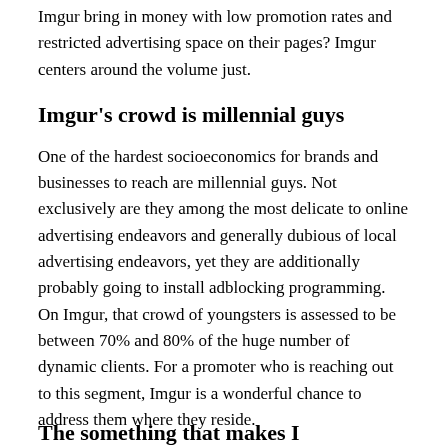Imgur bring in money with low promotion rates and restricted advertising space on their pages? Imgur centers around the volume just.
Imgur's crowd is millennial guys
One of the hardest socioeconomics for brands and businesses to reach are millennial guys. Not exclusively are they among the most delicate to online advertising endeavors and generally dubious of local advertising endeavors, yet they are additionally probably going to install adblocking programming. On Imgur, that crowd of youngsters is assessed to be between 70% and 80% of the huge number of dynamic clients. For a promoter who is reaching out to this segment, Imgur is a wonderful chance to address them where they reside.
The something that makes Imgur